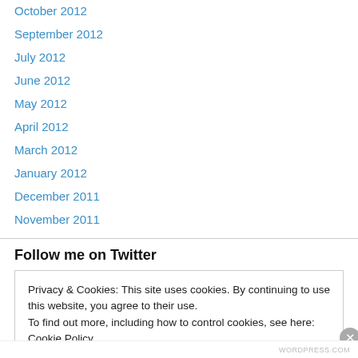October 2012
September 2012
July 2012
June 2012
May 2012
April 2012
March 2012
January 2012
December 2011
November 2011
Follow me on Twitter
Privacy & Cookies: This site uses cookies. By continuing to use this website, you agree to their use.
To find out more, including how to control cookies, see here: Cookie Policy